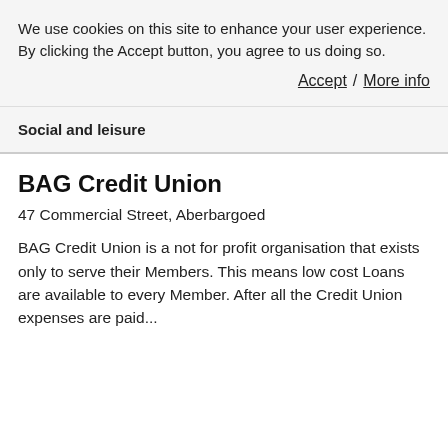We use cookies on this site to enhance your user experience. By clicking the Accept button, you agree to us doing so.
Accept / More info
Social and leisure
BAG Credit Union
47 Commercial Street, Aberbargoed
BAG Credit Union is a not for profit organisation that exists only to serve their Members. This means low cost Loans are available to every Member. After all the Credit Union expenses are paid...